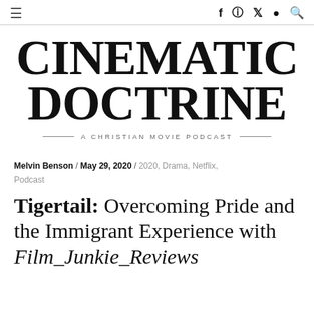≡  f  [instagram]  [twitter]  [spotify]  [search]
CINEMATIC DOCTRINE
— A CHRISTIAN MOVIE PODCAST —
Melvin Benson / May 29, 2020 / 2020, Drama, Netflix, Podcast
Tigertail: Overcoming Pride and the Immigrant Experience with Film_Junkie_Reviews